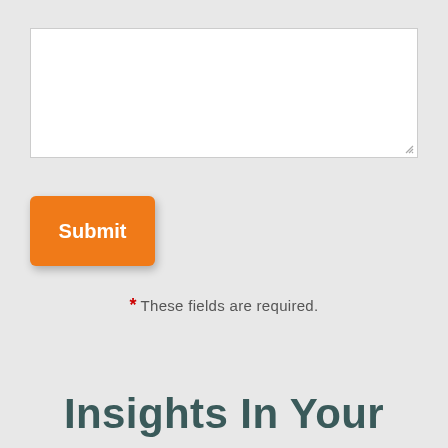[Figure (screenshot): A white textarea input field with a resize handle in the bottom-right corner, on a light gray background.]
[Figure (screenshot): An orange Submit button with white bold text, rounded corners and drop shadow.]
* These fields are required.
Insights In Your